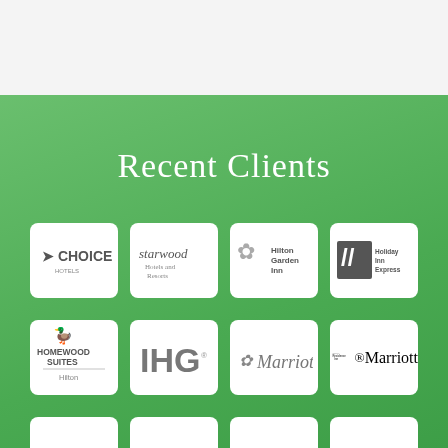Recent Clients
[Figure (logo): Choice Hotels logo]
[Figure (logo): Starwood Hotels and Resorts logo]
[Figure (logo): Hilton Garden Inn logo]
[Figure (logo): Holiday Inn Express logo]
[Figure (logo): Homewood Suites by Hilton logo]
[Figure (logo): IHG logo]
[Figure (logo): Marriott logo]
[Figure (logo): Residence Inn by Marriott logo]
[Figure (logo): Partial logos visible in third row]